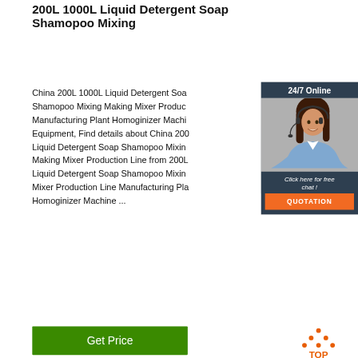200L 1000L Liquid Detergent Soap Shamopoo Mixing
China 200L 1000L Liquid Detergent Soap Shamopoo Mixing Making Mixer Production Manufacturing Plant Homoginizer Machine Equipment, Find details about China 200L Liquid Detergent Soap Shamopoo Mixing Making Mixer Production Line from 200L Liquid Detergent Soap Shamopoo Mixing Mixer Production Line Manufacturing Plant Homoginizer Machine ...
[Figure (photo): Chat widget with woman wearing headset, '24/7 Online' header, 'Click here for free chat!' text, and orange QUOTATION button]
[Figure (illustration): Green 'Get Price' button]
[Figure (illustration): Orange TOP icon with upward triangle dots and 'TOP' text]
[Figure (photo): Product image strip showing industrial mixing equipment]